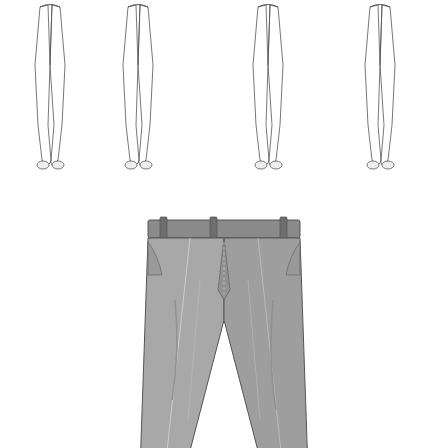[Figure (illustration): Fashion/apparel technical flat sketches: top row shows four outline/line-art drawings of slim trousers/jogger pants in pairs (front and back views), arranged horizontally. Bottom section shows one large colored illustration of gray formal dress trousers with belt loops, front pleats, side pockets, and a center fly, rendered in gray tones.]